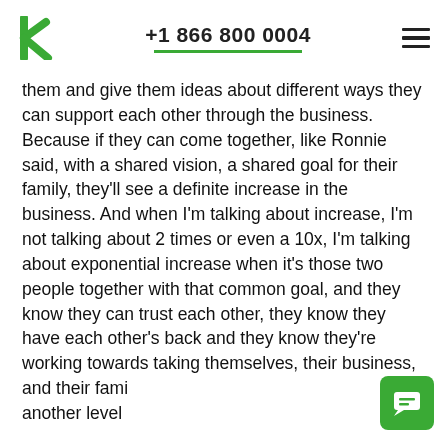+1 866 800 0004
them and give them ideas about different ways they can support each other through the business. Because if they can come together, like Ronnie said, with a shared vision, a shared goal for their family, they'll see a definite increase in the business. And when I'm talking about increase, I'm not talking about 2 times or even a 10x, I'm talking about exponential increase when it's those two people together with that common goal, and they know they can trust each other, they know they have each other's back and they know they're working towards taking themselves, their business, and their fami another level